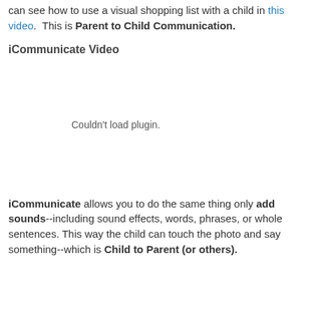can see how to use a visual shopping list with a child in this video.  This is Parent to Child Communication.
iCommunicate Video
[Figure (other): Embedded video plugin area showing 'Couldn't load plugin.' message]
iCommunicate allows you to do the same thing only add sounds--including sound effects, words, phrases, or whole sentences. This way the child can touch the photo and say something--which is Child to Parent (or others).